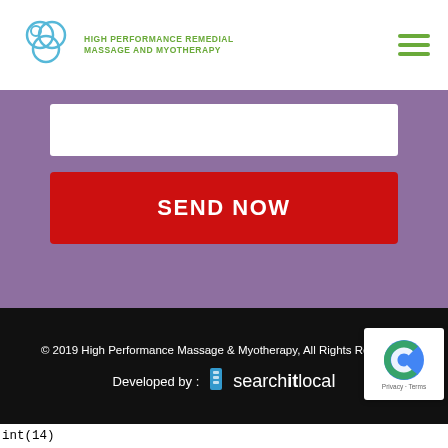HIGH PERFORMANCE REMEDIAL MASSAGE AND MYOTHERAPY
[Figure (screenshot): Website screenshot showing a purple contact form section with a white input box and a red SEND NOW button, followed by a background photo of a massage, then a black footer with copyright and developer info.]
SEND NOW
© 2019 High Performance Massage & Myotherapy, All Rights Reserved.
Developed by : searchitlocal
int(14)